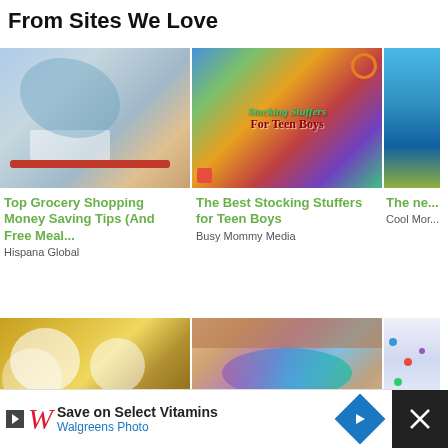From Sites We Love
[Figure (photo): Person at grocery store checkout scanning items with a receipt printer]
[Figure (photo): Collage of items with text 'Stocking Stuffers For Teen Boys' overlaid]
[Figure (photo): LEGO minifigures on blue background (partially cropped)]
Top Grocery Shopping Money Saving Tips (And Free Meal...
Hispana Global
The Best Stocking Stuffers for Teen Boys
Busy Mommy Media
The ne... minifigs... Mahna...
Cool Mor...
[Figure (photo): Bowls of yellow squash or pineapple dessert]
[Figure (photo): Close-up of an eye with colorful blue and pink eyeshadow]
[Figure (photo): Partially visible third image in bottom row]
Save on Select Vitamins
Walgreens Photo